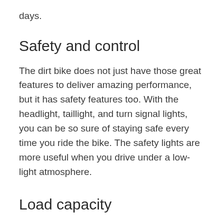days.
Safety and control
The dirt bike does not just have those great features to deliver amazing performance, but it has safety features too. With the headlight, taillight, and turn signal lights, you can be so sure of staying safe every time you ride the bike. The safety lights are more useful when you drive under a low-light atmosphere.
Load capacity
The dirt bike also has 330 lbs weight capacity to